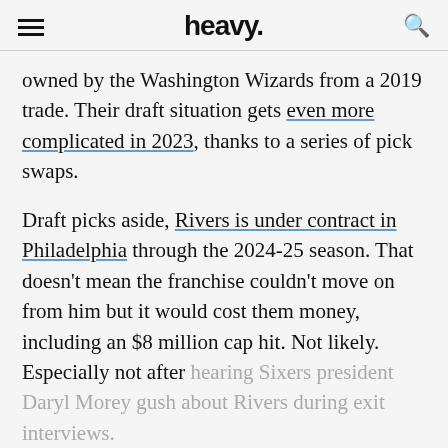heavy.
owned by the Washington Wizards from a 2019 trade. Their draft situation gets even more complicated in 2023, thanks to a series of pick swaps.
Draft picks aside, Rivers is under contract in Philadelphia through the 2024-25 season. That doesn't mean the franchise couldn't move on from him but it would cost them money, including an $8 million cap hit. Not likely. Especially not after hearing Sixers president Daryl Morey gush about Rivers during exit interviews.